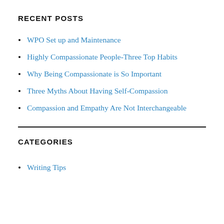RECENT POSTS
WPO Set up and Maintenance
Highly Compassionate People-Three Top Habits
Why Being Compassionate is So Important
Three Myths About Having Self-Compassion
Compassion and Empathy Are Not Interchangeable
CATEGORIES
Writing Tips